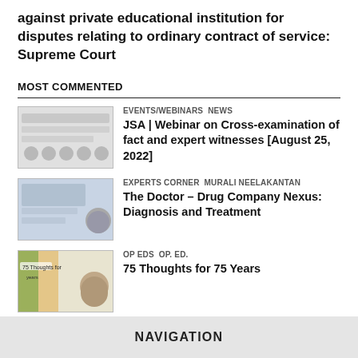against private educational institution for disputes relating to ordinary contract of service: Supreme Court
MOST COMMENTED
[Figure (photo): Thumbnail image for JSA Webinar article]
EVENTS/WEBINARS  NEWS
JSA | Webinar on Cross-examination of fact and expert witnesses [August 25, 2022]
[Figure (photo): Thumbnail image for Doctor Drug Company Nexus article]
EXPERTS CORNER  MURALI NEELAKANTAN
The Doctor – Drug Company Nexus: Diagnosis and Treatment
[Figure (photo): Thumbnail image for 75 Thoughts for 75 Years article]
OP EDS  OP. ED.
75 Thoughts for 75 Years
NAVIGATION